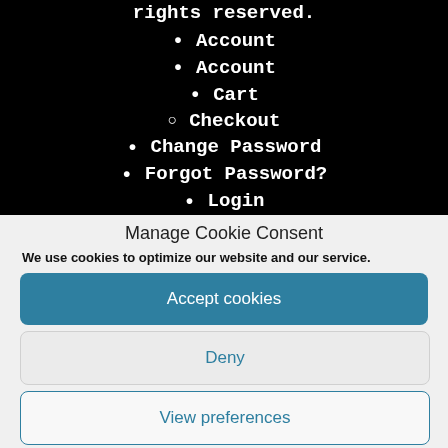rights reserved.
Account
Account
Cart
Checkout
Change Password
Forgot Password?
Login
Login
Logout
Members
Manage Cookie Consent
We use cookies to optimize our website and our service.
Accept cookies
Deny
View preferences